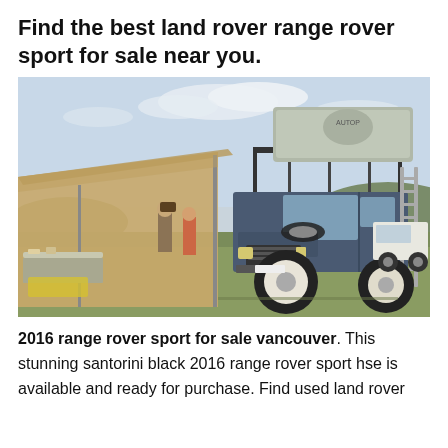Find the best land rover range rover sport for sale near you.
[Figure (photo): A blue Land Rover Defender 4x4 vehicle with a rooftop tent (AUTOP brand) mounted on a roof rack, and a ladder leaning against the side. The vehicle is parked on grass at what appears to be an outdoor event or market, with a large tan awning/canopy visible on the left, people browsing underneath it, and hills in the background under a partly cloudy sky.]
2016 range rover sport for sale vancouver. This stunning santorini black 2016 range rover sport hse is available and ready for purchase. Find used land rover